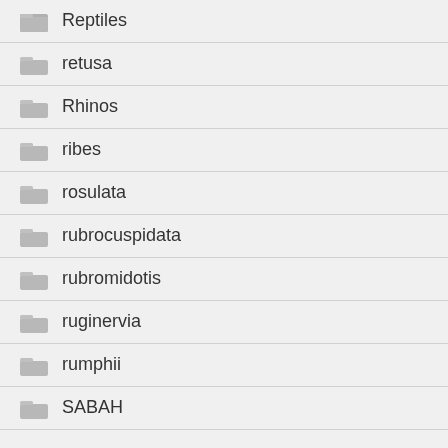Reptiles
retusa
Rhinos
ribes
rosulata
rubrocuspidata
rubromidotis
ruginervia
rumphii
SABAH